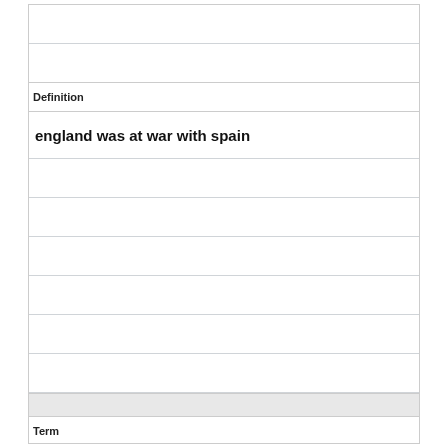Definition
england was at war with spain
Term
John Whites granddaughter was the first born english child in the new world who was she?